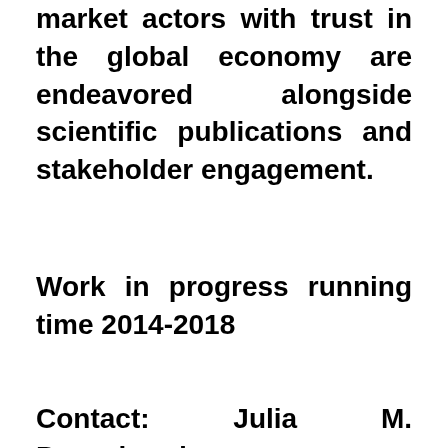market actors with trust in the global economy are endeavored alongside scientific publications and stakeholder engagement.
Work in progress running time 2014-2018
Contact: Julia M. Puaschunder